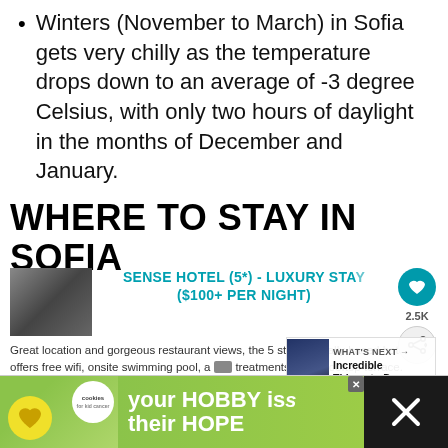Winters (November to March) in Sofia gets very chilly as the temperature drops down to an average of -3 degree Celsius, with only two hours of daylight in the months of December and January.
WHERE TO STAY IN SOFIA
[Figure (photo): Hotel thumbnail showing a rooftop terrace or city view]
SENSE HOTEL (5*) - LUXURY STAY ($100+ PER NIGHT)
Great location and gorgeous restaurant views, the 5 star, centrally based hotel offers free wifi, onsite swimming pool, a [spa] treatments and a rooftop terrace.
Book Now | Compare Prices for Later | Read Trip Advisor Reviews
[Figure (screenshot): WHAT'S NEXT overlay with city night photo and text: Incredible Things to D...]
[Figure (infographic): Advertisement banner: cookies for kid cancer - your HOBBY is their HOPE]